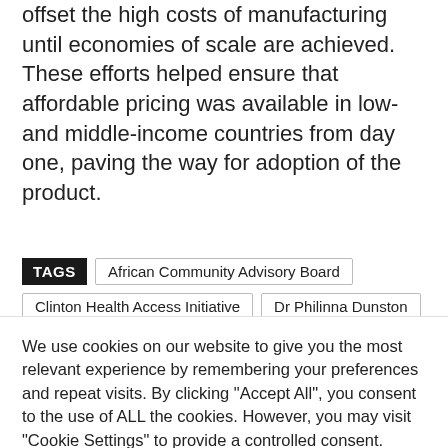offset the high costs of manufacturing until economies of scale are achieved. These efforts helped ensure that affordable pricing was available in low- and middle-income countries from day one, paving the way for adoption of the product.
TAGS  African Community Advisory Board  Clinton Health Access Initiative  Dr Philinna Dunston
We use cookies on our website to give you the most relevant experience by remembering your preferences and repeat visits. By clicking "Accept All", you consent to the use of ALL the cookies. However, you may visit "Cookie Settings" to provide a controlled consent.